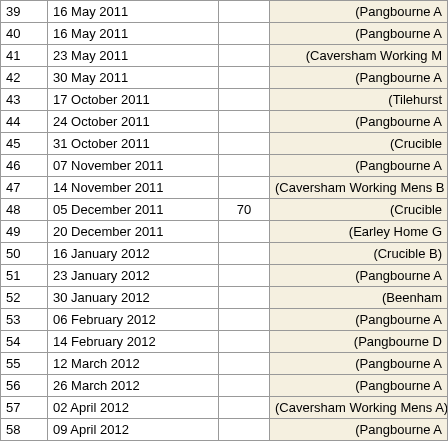| # | Date | Score | Team |
| --- | --- | --- | --- |
| 39 | 16 May 2011 |  | (Pangbourne A |
| 40 | 16 May 2011 |  | (Pangbourne A |
| 41 | 23 May 2011 |  | (Caversham Working M |
| 42 | 30 May 2011 |  | (Pangbourne A |
| 43 | 17 October 2011 |  | (Tilehurst |
| 44 | 24 October 2011 |  | (Pangbourne A |
| 45 | 31 October 2011 |  | (Crucible |
| 46 | 07 November 2011 |  | (Pangbourne A |
| 47 | 14 November 2011 |  | (Caversham Working Mens B |
| 48 | 05 December 2011 | 70 | (Crucible |
| 49 | 20 December 2011 |  | (Earley Home G |
| 50 | 16 January 2012 |  | (Crucible B) |
| 51 | 23 January 2012 |  | (Pangbourne A |
| 52 | 30 January 2012 |  | (Beenham |
| 53 | 06 February 2012 |  | (Pangbourne A |
| 54 | 14 February 2012 |  | (Pangbourne D |
| 55 | 12 March 2012 |  | (Pangbourne A |
| 56 | 26 March 2012 |  | (Pangbourne A |
| 57 | 02 April 2012 |  | (Caversham Working Mens A) |
| 58 | 09 April 2012 |  | (Pangbourne A |